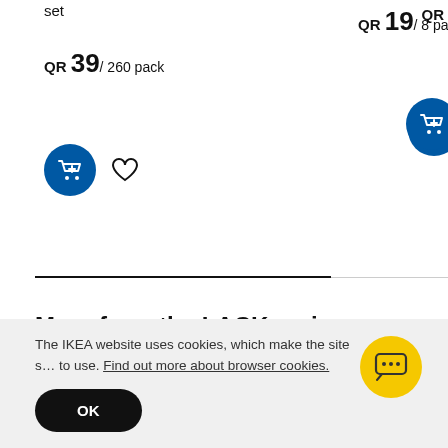set
QR 39/ 260 pack
QR 19/ 8 pack
QR
More from the LACK series
Top seller
The IKEA website uses cookies, which make the site s… to use. Find out more about browser cookies.
OK